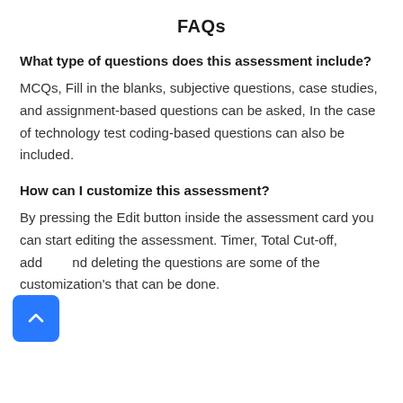FAQs
What type of questions does this assessment include?
MCQs, Fill in the blanks, subjective questions, case studies, and assignment-based questions can be asked, In the case of technology test coding-based questions can also be included.
How can I customize this assessment?
By pressing the Edit button inside the assessment card you can start editing the assessment. Timer, Total Cut-off, adding and deleting the questions are some of the customization's that can be done.